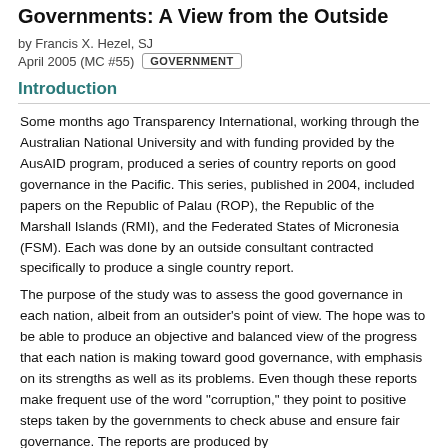Governments: A View from the Outside
by Francis X. Hezel, SJ
April 2005 (MC #55)  GOVERNMENT
Introduction
Some months ago Transparency International, working through the Australian National University and with funding provided by the AusAID program, produced a series of country reports on good governance in the Pacific. This series, published in 2004, included papers on the Republic of Palau (ROP), the Republic of the Marshall Islands (RMI), and the Federated States of Micronesia (FSM). Each was done by an outside consultant contracted specifically to produce a single country report.
The purpose of the study was to assess the good governance in each nation, albeit from an outsider's point of view. The hope was to be able to produce an objective and balanced view of the progress that each nation is making toward good governance, with emphasis on its strengths as well as its problems. Even though these reports make frequent use of the word "corruption," they point to positive steps taken by the governments to check abuse and ensure fair governance. The reports are produced by